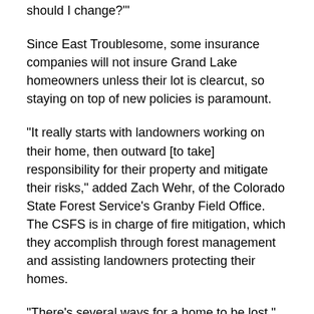should I change?'"
Since East Troublesome, some insurance companies will not insure Grand Lake homeowners unless their lot is clearcut, so staying on top of new policies is paramount.
“It really starts with landowners working on their home, then outward [to take] responsibility for their property and mitigate their risks,” added Zach Wehr, of the Colorado State Forest Service’s Granby Field Office. The CSFS is in charge of fire mitigation, which they accomplish through forest management and assisting landowners protecting their homes.
“There’s several ways for a home to be lost,” Wehr stated. “There’s the classic notion of a fire moving towards a house and just burning it down, but what we’re seeing a lot more of